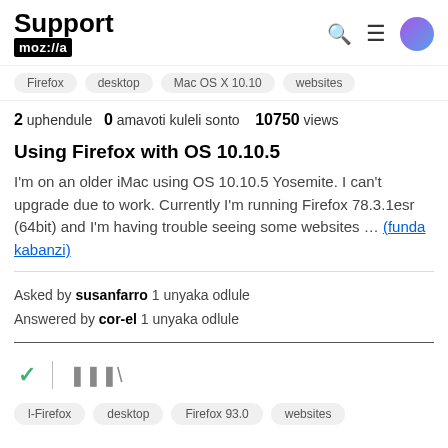Support mozilla
Firefox  desktop  Mac OS X 10.10  websites
2 uphendule  0 amavoti kuleli sonto  10750 views
Using Firefox with OS 10.10.5
I'm on an older iMac using OS 10.10.5 Yosemite. I can't upgrade due to work. Currently I'm running Firefox 78.3.1esr (64bit) and I'm having trouble seeing some websites … (funda kabanzi)
Asked by susanfarro 1 unyaka odlule
Answered by cor-el 1 unyaka odlule
l-Firefox  desktop  Firefox 93.0  websites